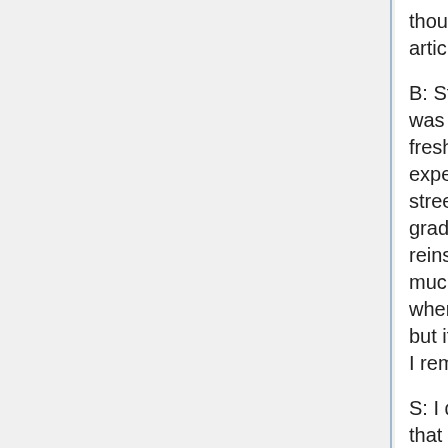thought about when I was reading through this article.
B: Steve when we went to Canterbury, there was a story that went around when we were freshmen, about how for one year they did an experiment where the students could wear street clothes, whatever they wanted, and grades went down precipitously and then they reinstituted the dress code which was pretty much jacket and tie every day and grades when back up but I never confirmed that story, but it was just a bit of anecdotal evidence that I remember from years ago in high school.
S: I do remember that Bob, but the thing is that that kind of data is anecdotal and we don't know if that was just one part of a bigger overhaul. That variable wasn't